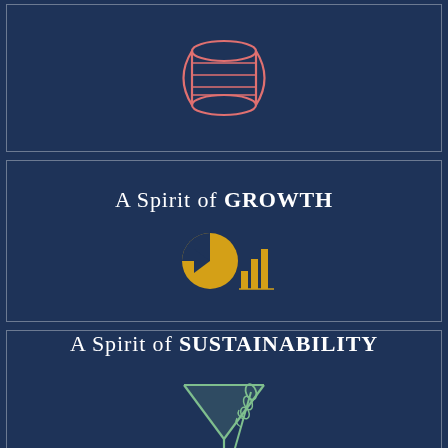[Figure (illustration): A wooden barrel icon drawn in salmon/coral outline style, centered in the top panel on a dark navy background.]
A Spirit of GROWTH
[Figure (illustration): A composite icon showing a golden/yellow pie chart with a forward arrow and a bar chart, representing growth, centered in the middle panel.]
A Spirit of SUSTAINABILITY
[Figure (illustration): A green martini glass icon with a wheat/grain stalk leaning against it, representing sustainability, centered in the bottom panel.]